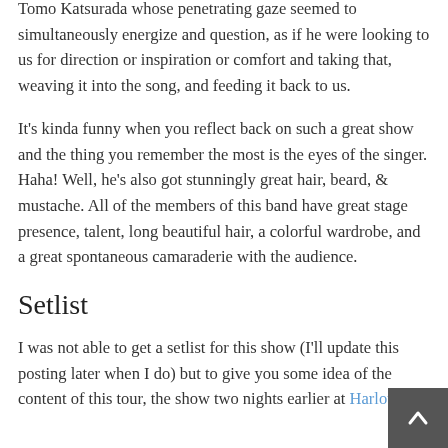Tomo Katsurada whose penetrating gaze seemed to simultaneously energize and question, as if he were looking to us for direction or inspiration or comfort and taking that, weaving it into the song, and feeding it back to us.
It's kinda funny when you reflect back on such a great show and the thing you remember the most is the eyes of the singer. Haha! Well, he's also got stunningly great hair, beard, & mustache. All of the members of this band have great stage presence, talent, long beautiful hair, a colorful wardrobe, and a great spontaneous camaraderie with the audience.
Setlist
I was not able to get a setlist for this show (I'll update this posting later when I do) but to give you some idea of the content of this tour, the show two nights earlier at Harlow's in Sacramento featured the following...